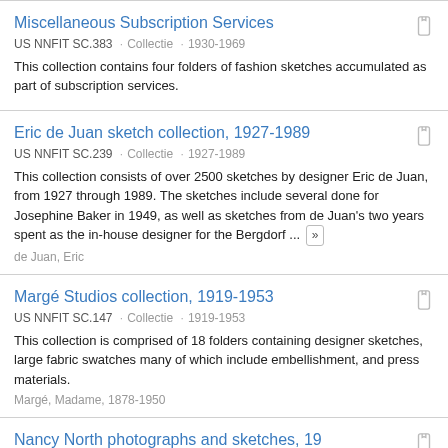Miscellaneous Subscription Services
US NNFIT SC.383 · Collectie · 1930-1969
This collection contains four folders of fashion sketches accumulated as part of subscription services.
Eric de Juan sketch collection, 1927-1989
US NNFIT SC.239 · Collectie · 1927-1989
This collection consists of over 2500 sketches by designer Eric de Juan, from 1927 through 1989. The sketches include several done for Josephine Baker in 1949, as well as sketches from de Juan's two years spent as the in-house designer for the Bergdorf ...
de Juan, Eric
Margé Studios collection, 1919-1953
US NNFIT SC.147 · Collectie · 1919-1953
This collection is comprised of 18 folders containing designer sketches, large fabric swatches many of which include embellishment, and press materials.
Margé, Madame, 1878-1950
Nancy North photographs and sketches, 19...